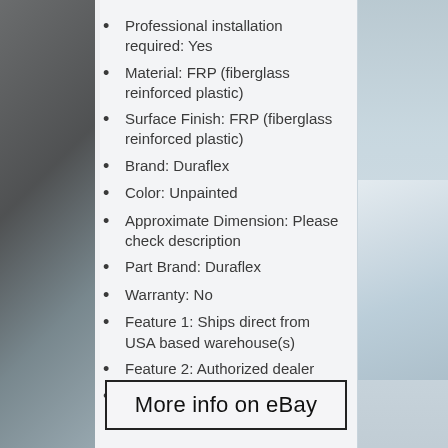Professional installation required: Yes
Material: FRP (fiberglass reinforced plastic)
Surface Finish: FRP (fiberglass reinforced plastic)
Brand: Duraflex
Color: Unpainted
Approximate Dimension: Please check description
Part Brand: Duraflex
Warranty: No
Feature 1: Ships direct from USA based warehouse(s)
Feature 2: Authorized dealer
Fitment Type: Performance/Custom
More info on eBay